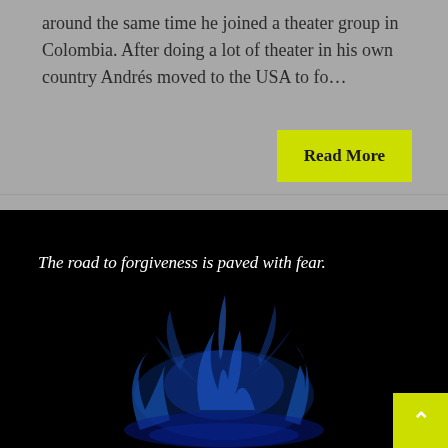around the same time he joined a theater group in Colombia. After doing a lot of theater in his own country Andrés moved to the USA to fo…
Read More
[Figure (photo): A black background with blue glowing smoke or flame-like shapes at the bottom, and white italic text reading 'The road to forgiveness is paved with fear.']